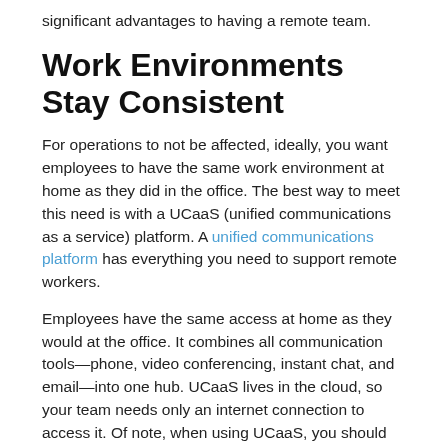significant advantages to having a remote team.
Work Environments Stay Consistent
For operations to not be affected, ideally, you want employees to have the same work environment at home as they did in the office. The best way to meet this need is with a UCaaS (unified communications as a service) platform. A unified communications platform has everything you need to support remote workers.
Employees have the same access at home as they would at the office. It combines all communication tools—phone, video conferencing, instant chat, and email—into one hub. UCaaS lives in the cloud, so your team needs only an internet connection to access it. Of note, when using UCaaS, you should also consider any security or privacy requirements and make sure you select a solution that meets these needs.